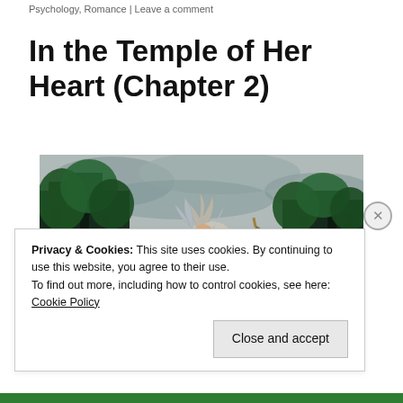Psychology, Romance | Leave a comment
In the Temple of Her Heart (Chapter 2)
[Figure (illustration): Fantasy illustration of a female warrior with long silver hair wearing blue armor, riding a white horse and holding a long polearm/halberd. Dark green forest in the background with overcast sky.]
Privacy & Cookies: This site uses cookies. By continuing to use this website, you agree to their use.
To find out more, including how to control cookies, see here:
Cookie Policy
Close and accept